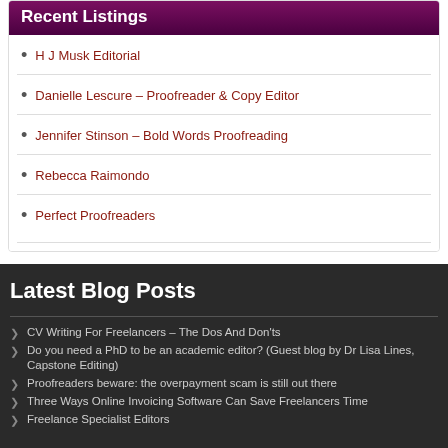Recent Listings
H J Musk Editorial
Danielle Lescure – Proofreader & Copy Editor
Jennifer Stinson – Bold Words Proofreading
Rebecca Raimondo
Perfect Proofreaders
Latest Blog Posts
CV Writing For Freelancers – The Dos And Don'ts
Do you need a PhD to be an academic editor? (Guest blog by Dr Lisa Lines, Capstone Editing)
Proofreaders beware: the overpayment scam is still out there
Three Ways Online Invoicing Software Can Save Freelancers Time
Freelance Specialist Editors